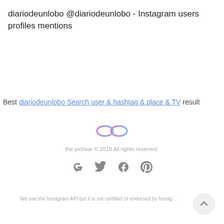diariodeunlobo @diariodeunlobo - Instagram users profiles mentions
Best diariodeunlobo Search user & hashtag & place & TV result
[Figure (logo): Picbear infinity loop logo in pink and purple gradient]
the picbear © 2018 All rights reserved.
[Figure (infographic): Social media icons: Google, Twitter, Facebook, Pinterest]
We use the Instagram API but it is not certified or endorsed by Instag...